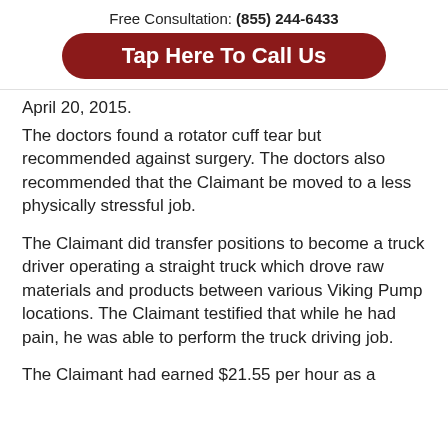Free Consultation: (855) 244-6433
Tap Here To Call Us
April 20, 2015.
The doctors found a rotator cuff tear but recommended against surgery.  The doctors also recommended that the Claimant be moved to a less physically stressful job.
The Claimant did transfer positions to become a truck driver operating a straight truck which drove raw materials and products between various Viking Pump locations.  The Claimant testified that while he had pain, he was able to perform the truck driving job.
The Claimant had earned $21.55 per hour as a